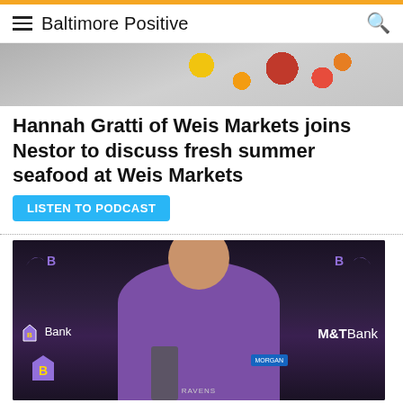Baltimore Positive
[Figure (photo): Top portion of a food/seafood image, partially cropped at top]
Hannah Gratti of Weis Markets joins Nestor to discuss fresh summer seafood at Weis Markets
LISTEN TO PODCAST
[Figure (photo): Baltimore Ravens press conference photo showing a man in purple Ravens shirt at a podium with M&T Bank backdrop and Ravens logos]
Dennis Koulatsos and Nestor get mentally prepared to enter regular season for Ravens football